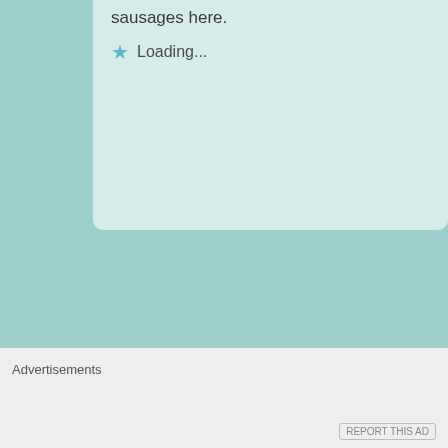sausages here.
Loading...
Jovina Coughlin
October 3, 2013 at 9:49 am
Then this will be perfect for you. If you like add more crushed red pepper.
Nice to be able to grow the seeds yourself
Advertisements